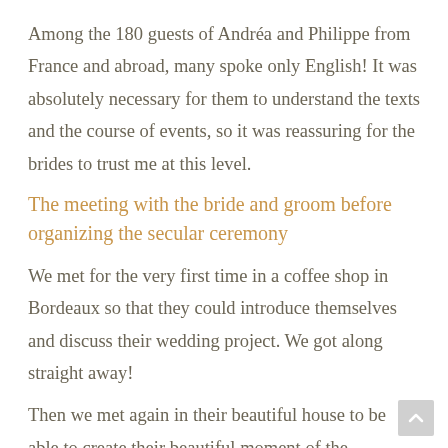Among the 180 guests of Andréa and Philippe from France and abroad, many spoke only English! It was absolutely necessary for them to understand the texts and the course of events, so it was reassuring for the brides to trust me at this level.
The meeting with the bride and groom before organizing the secular ceremony
We met for the very first time in a coffee shop in Bordeaux so that they could introduce themselves and discuss their wedding project. We got along straight away!
Then we met again in their beautiful house to be able to create their beautiful moment of the ceremony. I was very well received by Andrea and Philippe and their two little girls. For several months we